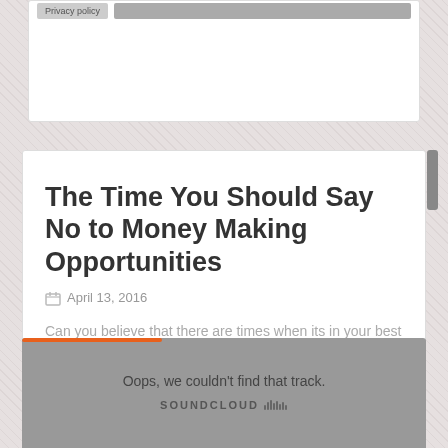Privacy policy
The Time You Should Say No to Money Making Opportunities
April 13, 2016
Can you believe that there are times when its in your best interest to turn down money? Listen to this podcast from Stanford Business to learn more.
[Figure (other): SoundCloud embedded audio player showing error: Oops, we couldn't find that track.]